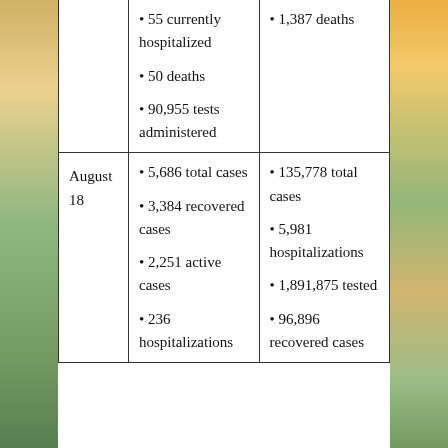| Date | Local | State |
| --- | --- | --- |
|  | • 55 currently hospitalized
• 50 deaths
• 90,955 tests administered | • 1,387 deaths |
| August 18 | • 5,686 total cases
• 3,384 recovered cases
• 2,251 active cases
• 236 hospitalizations | • 135,778 total cases
• 5,981 hospitalizations
• 1,891,875 tested
• 96,896 recovered cases |